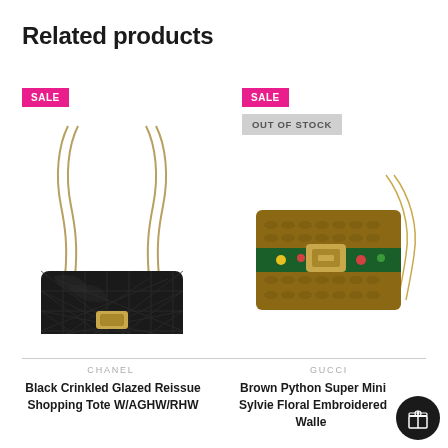Related products
[Figure (photo): Black Chanel quilted glazed reissue shopping tote with gold chain handles, SALE badge visible]
[Figure (photo): Brown python Gucci Sylvie floral embroidered wallet on chain, SALE and OUT OF STOCK badges visible]
CHANEL
Black Crinkled Glazed Reissue Shopping Tote W/AGHW/RHW
GUCCI
Brown Python Super Mini Sylvie Floral Embroidered Wallet